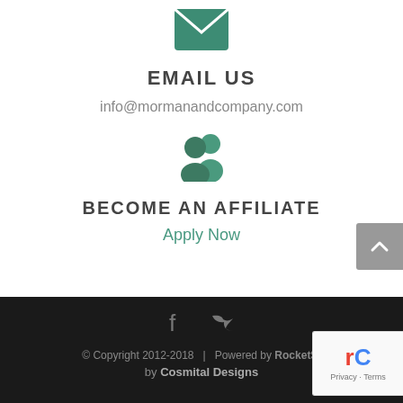[Figure (illustration): Teal envelope icon]
EMAIL US
info@mormanandcompany.com
[Figure (illustration): Teal group/people icon]
BECOME AN AFFILIATE
Apply Now
© Copyright 2012-2018   |   Powered by RocketSi... by Cosmital Designs